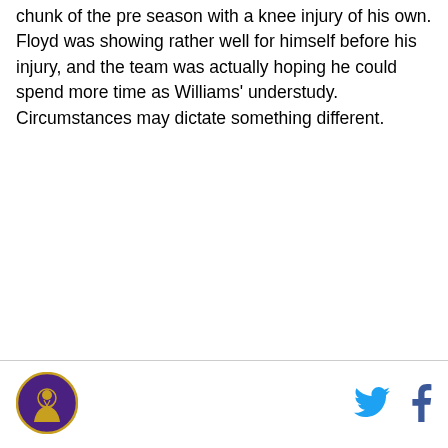chunk of the pre season with a knee injury of his own. Floyd was showing rather well for himself before his injury, and the team was actually hoping he could spend more time as Williams' understudy. Circumstances may dictate something different.
[Figure (logo): Circular logo with purple/gold background featuring a basketball player silhouette]
[Figure (logo): Twitter bird icon in cyan/blue color]
[Figure (logo): Facebook 'f' icon in blue color]